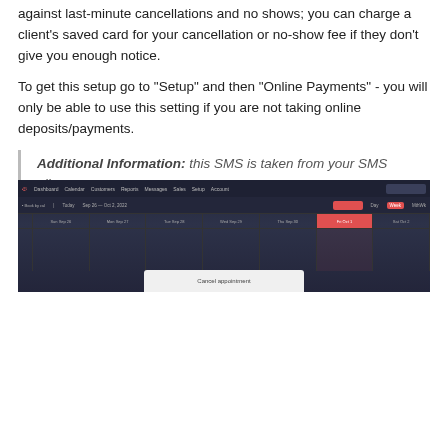against last-minute cancellations and no shows; you can charge a client's saved card for your cancellation or no-show fee if they don't give you enough notice.
To get this setup go to “Setup” and then “Online Payments” - you will only be able to use this setting if you are not taking online deposits/payments.
Additional Information: this SMS is taken from your SMS allowance.
Set this up in Timely: Setup > Online payments
For more information see our help guide: Revenue Protection with TimelyPay
[Figure (screenshot): Screenshot of Timely application showing a calendar/booking interface with a dark navy theme. Navigation bar at top, calendar days displayed, and a popup dialog partially visible at the bottom.]